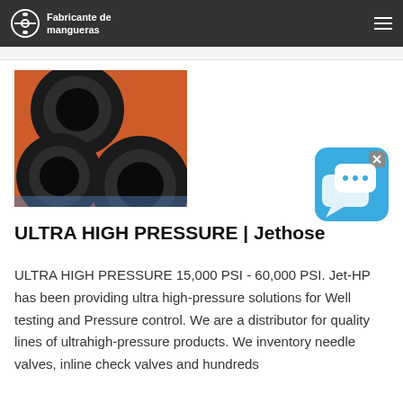Fabricante de mangueras
[Figure (photo): Three large red/black rubber high-pressure hoses shown in cross-section, stacked together]
[Figure (other): Blue chat widget icon with speech bubble graphics and an X close button]
ULTRA HIGH PRESSURE | Jethose
ULTRA HIGH PRESSURE 15,000 PSI - 60,000 PSI. Jet-HP has been providing ultra high-pressure solutions for Well testing and Pressure control. We are a distributor for quality lines of ultrahigh-pressure products. We inventory needle valves, inline check valves and hundreds of other products that have come to be essential...